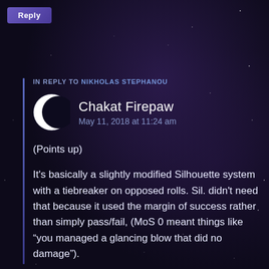Reply
IN REPLY TO NIKHOLAS STEPHANOU
Chakat Firepaw
May 11, 2018 at 11:24 am
(Points up)

It's basically a slightly modified Silhouette system with a tiebreaker on opposed rolls. Sil. didn't need that because it used the margin of success rather than simply pass/fail, (MoS 0 meant things like “you managed a glancing blow that did no damage”).